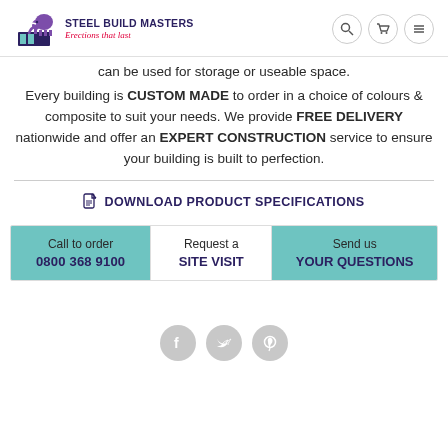Steel Build Masters - Erections that last
can be used for storage or useable space.
Every building is CUSTOM MADE to order in a choice of colours & composite to suit your needs. We provide FREE DELIVERY nationwide and offer an EXPERT CONSTRUCTION service to ensure your building is built to perfection.
DOWNLOAD PRODUCT SPECIFICATIONS
Call to order
0800 368 9100
Request a
SITE VISIT
Send us
YOUR QUESTIONS
[Figure (other): Social media icons: Facebook, Twitter, Pinterest]